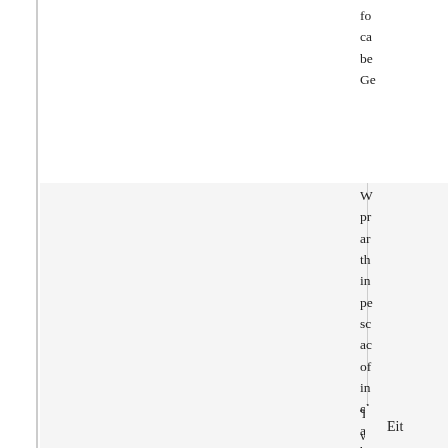fo ca be Ge
| Term | Definition | Translation |
| --- | --- | --- |
| electioneering | the busying of oneself in elections, trying to get elected. | agitacja wyborcza |
W pr ar th in pe sc ac of in el ar be co ab pli el
Th wi
Eit